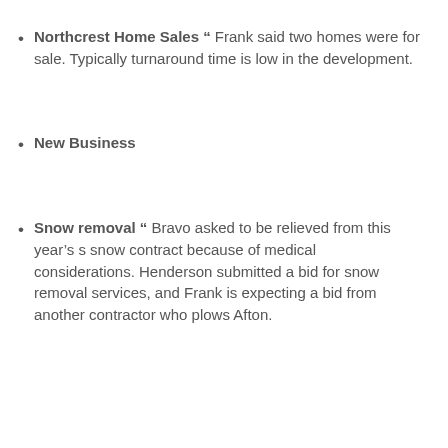Northcrest Home Sales " Frank said two homes were for sale. Typically turnaround time is low in the development.
New Business
Snow removal " Bravo asked to be relieved from this year's s snow contract because of medical considerations. Henderson submitted a bid for snow removal services, and Frank is expecting a bid from another contractor who plows Afton.